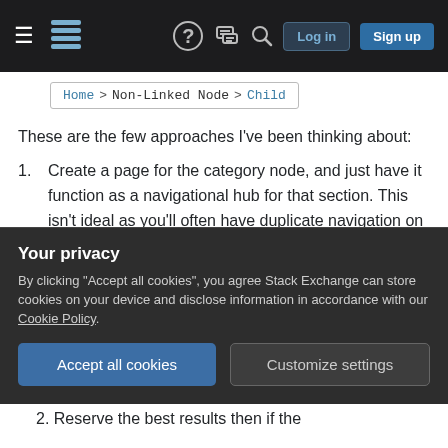Navigation bar with hamburger menu, logo, help icon, chat icon, search icon, Log in button, Sign up button
Home > Non-Linked Node > Child
These are the few approaches I've been thinking about:
1. Create a page for the category node, and just have it function as a navigational hub for that section. This isn't ideal as you'll often have duplicate navigation on the page that is already present elsewhere, or encourage fluff content to flesh out the page to not feel empty. The benefit
Your privacy
By clicking "Accept all cookies", you agree Stack Exchange can store cookies on your device and disclose information in accordance with our Cookie Policy.
Accept all cookies   Customize settings